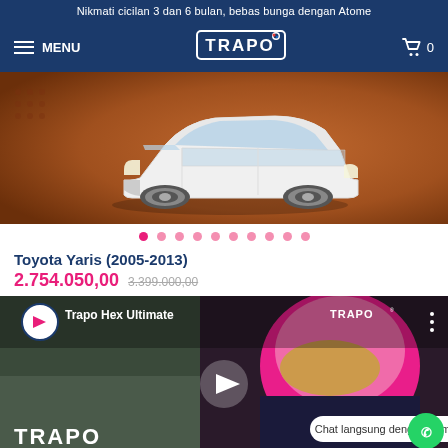Nikmati cicilan 3 dan 6 bulan, bebas bunga dengan Atome
[Figure (screenshot): TRAPO website navigation bar with hamburger menu, TRAPO logo, and cart icon showing 0 items]
[Figure (photo): White Toyota Yaris car on orange/brown background, product carousel image]
[Figure (infographic): Carousel navigation dots, 10 dots with first one active in dark pink]
Toyota Yaris (2005-2013)
2.754.050,00  3.399.000,00
[Figure (screenshot): YouTube video thumbnail for Trapo Hex Ultimate product video showing a racing driver in pink helmet, with TRAPO logo, play button, Chat langsung dengan Admin kami button, and WhatsApp icon]